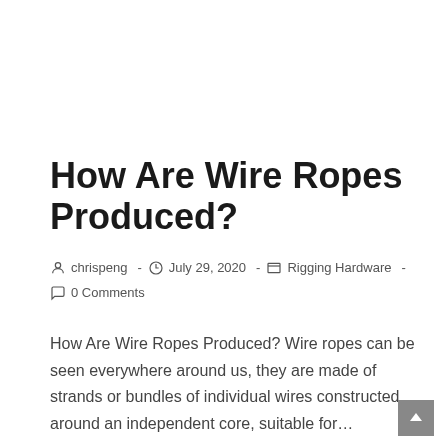How Are Wire Ropes Produced?
chrispeng  ·  July 29, 2020  ·  Rigging Hardware  ·  0 Comments
How Are Wire Ropes Produced? Wire ropes can be seen everywhere around us, they are made of strands or bundles of individual wires constructed around an independent core, suitable for…
Continue Reading ›